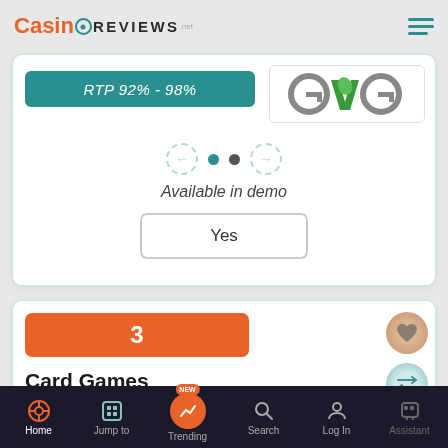Casino Reviews - mobile app header with hamburger menu
RTP  92% - 98%
[Figure (logo): GVG logo - green and grey stylized letters]
Available in demo
Yes
3
Card Games
Providers
RTP  94% - 99%
[Figure (logo): NETENT logo in green and black]
Home | Jump to | Trending | Search | Log In | Assistant